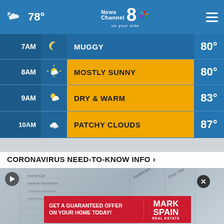78° News Channel 8 on your side
[Figure (screenshot): Weather forecast showing hourly conditions: 7AM Muggy 80°, 8AM Mostly Sunny 80°, 9AM Dry & Warm 83°, 10AM Patchy Clouds 87°]
CORONAVIRUS NEED-TO-KNOW INFO ›
[Figure (screenshot): Vaccine record card photo used as video thumbnail with play button]
[Figure (other): Advertisement: GET A GUARANTEED OFFER ON YOUR HOME TODAY! — Mark Spain Real Estate]